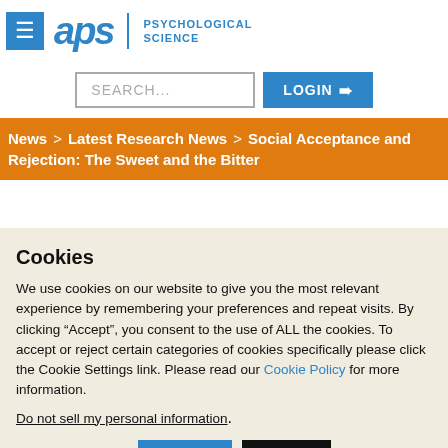APS | PSYCHOLOGICAL SCIENCE
SEARCH... LOGIN
News > Latest Research News > Social Acceptance and Rejection: The Sweet and the Bitter
Cookies
We use cookies on our website to give you the most relevant experience by remembering your preferences and repeat visits. By clicking “Accept”, you consent to the use of ALL the cookies. To accept or reject certain categories of cookies specifically please click the Cookie Settings link. Please read our Cookie Policy for more information.
Do not sell my personal information.
Cookie settings   Accept   Reject